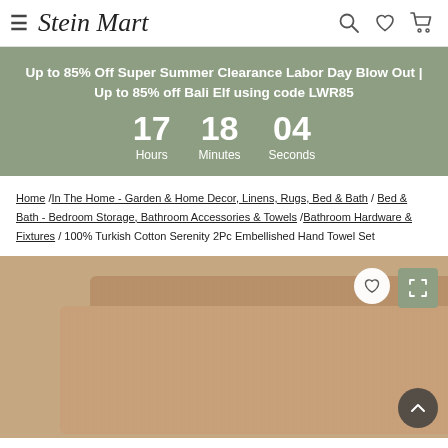Stein Mart
Up to 85% Off Super Summer Clearance Labor Day Blow Out | Up to 85% off Bali Elf using code LWR85
17 Hours  18 Minutes  04 Seconds
Home / In The Home - Garden & Home Decor, Linens, Rugs, Bed & Bath / Bed & Bath - Bedroom Storage, Bathroom Accessories & Towels / Bathroom Hardware & Fixtures / 100% Turkish Cotton Serenity 2Pc Embellished Hand Towel Set
[Figure (photo): Two brown/tan Turkish cotton hand towels stacked slightly offset, showing a fluffy textured surface, displayed on a white background.]